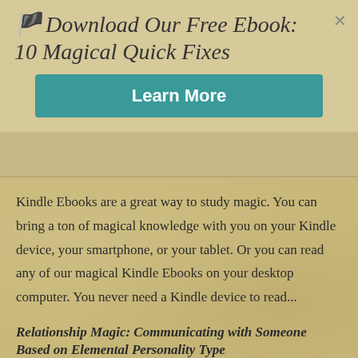Download Our Free Ebook: 10 Magical Quick Fixes
[Figure (other): Learn More button - teal colored call-to-action button]
Kindle Ebooks are a great way to study magic. You can bring a ton of magical knowledge with you on your Kindle device, your smartphone, or your tablet. Or you can read any of our magical Kindle Ebooks on your desktop computer. You never need a Kindle device to read...
Relationship Magic: Communicating with Someone Based on Elemental Personality Type
by Alan Joel | Oct 16, 2014 | Member Area
Relationship magic is a helpful tool in discovering your own personality traits and those of others in